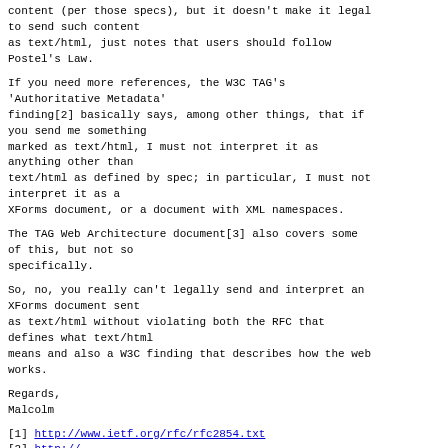content (per those specs), but it doesn't make it legal to send such content as text/html, just notes that users should follow Postel's Law.
If you need more references, the W3C TAG's 'Authoritative Metadata' finding[2] basically says, among other things, that if you send me something marked as text/html, I must not interpret it as anything other than text/html as defined by spec; in particular, I must not interpret it as a XForms document, or a document with XML namespaces.
The TAG Web Architecture document[3] also covers some of this, but not so specifically.
So, no, you really can't legally send and interpret an XForms document sent as text/html without violating both the RFC that defines what text/html means and also a W3C finding that describes how the web works.
Regards,
Malcolm
[1] http://www.ietf.org/rfc/rfc2854.txt
[2] http://...